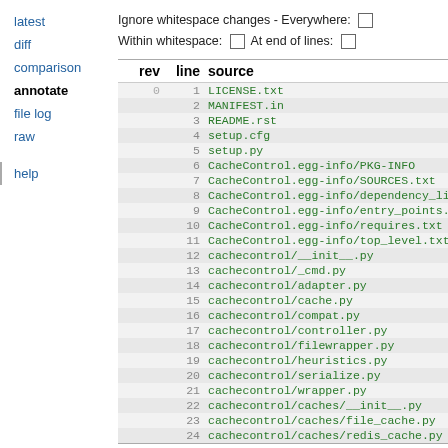latest
diff
comparison
annotate
file log
raw
help
Ignore whitespace changes - Everywhere: [ ] Within whitespace: [ ] At end of lines: [ ]
| rev | line | source |
| --- | --- | --- |
| 0 | 1 | LICENSE.txt |
|  | 2 | MANIFEST.in |
|  | 3 | README.rst |
|  | 4 | setup.cfg |
|  | 5 | setup.py |
|  | 6 | CacheControl.egg-info/PKG-INFO |
|  | 7 | CacheControl.egg-info/SOURCES.txt |
|  | 8 | CacheControl.egg-info/dependency_lin… |
|  | 9 | CacheControl.egg-info/entry_points.t… |
|  | 10 | CacheControl.egg-info/requires.txt |
|  | 11 | CacheControl.egg-info/top_level.txt |
|  | 12 | cachecontrol/__init__.py |
|  | 13 | cachecontrol/_cmd.py |
|  | 14 | cachecontrol/adapter.py |
|  | 15 | cachecontrol/cache.py |
|  | 16 | cachecontrol/compat.py |
|  | 17 | cachecontrol/controller.py |
|  | 18 | cachecontrol/filewrapper.py |
|  | 19 | cachecontrol/heuristics.py |
|  | 20 | cachecontrol/serialize.py |
|  | 21 | cachecontrol/wrapper.py |
|  | 22 | cachecontrol/caches/__init__.py |
|  | 23 | cachecontrol/caches/file_cache.py |
|  | 24 | cachecontrol/caches/redis_cache.py |